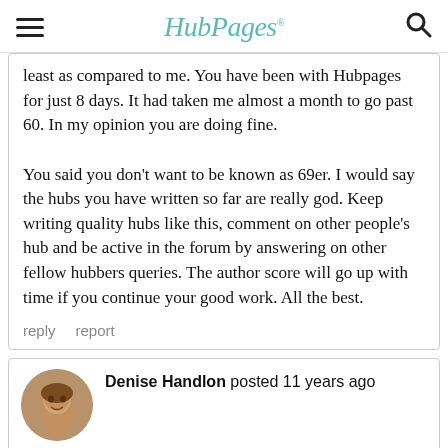HubPages
least as compared to me. You have been with Hubpages for just 8 days. It had taken me almost a month to go past 60. In my opinion you are doing fine.

You said you don't want to be known as 69er. I would say the hubs you have written so far are really god. Keep writing quality hubs like this, comment on other people's hub and be active in the forum by answering on other fellow hubbers queries. The author score will go up with time if you continue your good work. All the best.
reply   report
Denise Handlon posted 11 years ago